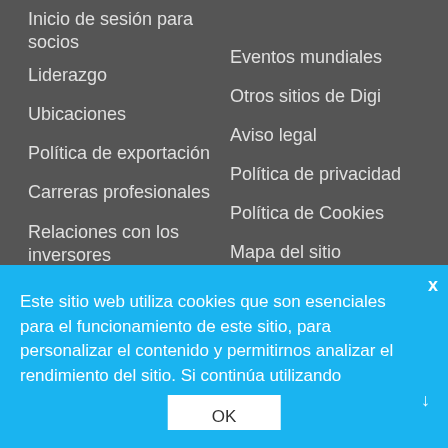Inicio de sesión para socios
Liderazgo
Ubicaciones
Política de exportación
Carreras profesionales
Relaciones con los inversores
Calidad y medio
Cobertura
Eventos mundiales
Otros sitios de Digi
Aviso legal
Política de privacidad
Política de Cookies
Mapa del sitio
Suscripción al boletín de
Este sitio web utiliza cookies que son esenciales para el funcionamiento de este sitio, para personalizar el contenido y permitirnos analizar el rendimiento del sitio. Si continúa utilizando
OK